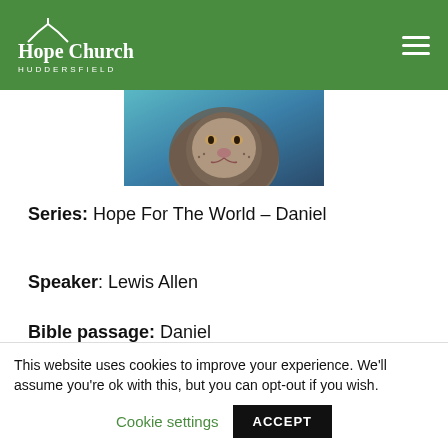[Figure (logo): Hope Church Huddersfield logo in white on green background with church silhouette icon]
[Figure (photo): Close-up photo of a lion's face with blue/teal toned background]
Series: Hope For The World – Daniel
Speaker: Lewis Allen
Bible passage: Daniel 1:2
This website uses cookies to improve your experience. We'll assume you're ok with this, but you can opt-out if you wish.
Cookie settings
ACCEPT